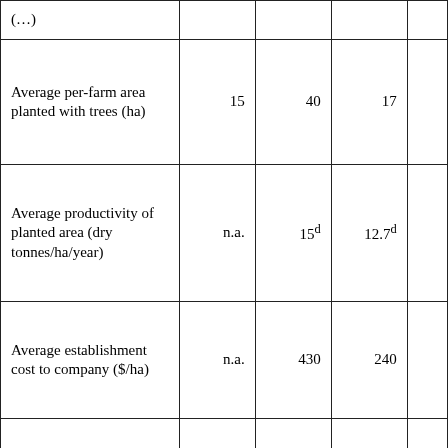| (…) |  |  |  |  |
| Average per-farm area planted with trees (ha) | 15 | 40 | 17 |  |
| Average productivity of planted area (dry tonnes/ha/year) | n.a. | 15d | 12.7d |  |
| Average establishment cost to company ($/ha) | n.a. | 430 | 240 |  |
| Average delivered cost of wood to company ($/t… | n.a. | 16 | 42 |  |